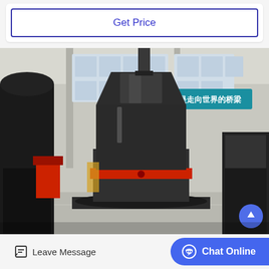Get Price
[Figure (photo): Industrial machinery photo showing large vertical grinding mill or cone crusher equipment in a factory/workshop setting. Central dark metallic conical component with red ring visible. Background shows a large industrial hall with Chinese signage reading '是走向世界的桥梁'. Other heavy machinery visible on left and right sides.]
Leave Message
Chat Online